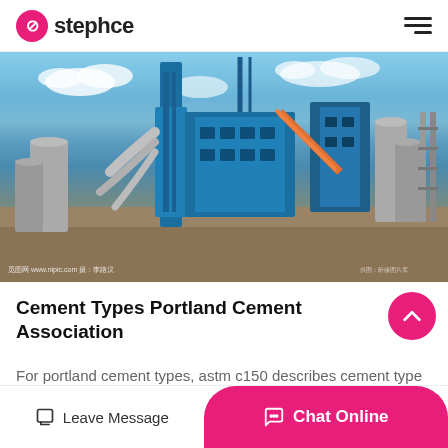stephce
[Figure (photo): Aerial/ground-level view of a large industrial cement plant with blue metal structures, tall silos, conveyor systems, pipes, and cranes against a blue sky with clouds. Foreground shows dirt ground. Watermark text visible at bottom left.]
Cement Types Portland Cement Association
For portland cement types, astm c150 describes cement type description. typeormal. type ii moderate sulfate resistance. type ii mh moderate heat of hydration and moderate sulfate…
Leave Message   Chat Online